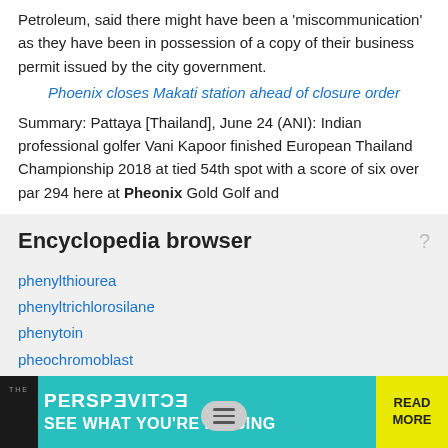Petroleum, said there might have been a 'miscommunication' as they have been in possession of a copy of their business permit issued by the city government.
Phoenix closes Makati station ahead of closure order
Summary: Pattaya [Thailand], June 24 (ANI): Indian professional golfer Vani Kapoor finished European Thailand Championship 2018 at tied 54th spot with a score of six over par 294 here at Pheonix Gold Golf and
Encyclopedia browser
phenylthiourea
phenyltrichlorosilane
phenytoin
pheochromoblast
Pheochromocytoma
Pheonix
pheoplast
Pherecrates
Pheromone
pheromones
[Figure (infographic): Advertisement banner: The Perspective - SEE WHAT YOU'RE MISSING - READ MORE]